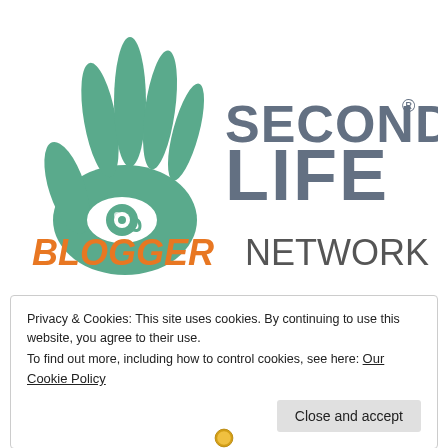[Figure (logo): Second Life Blogger Network logo — teal hand with eye in palm on the left, gray bold text 'SECOND LIFE' on the right, orange bold italic 'BLOGGER' and gray 'NETWORK' below]
Privacy & Cookies: This site uses cookies. By continuing to use this website, you agree to their use.
To find out more, including how to control cookies, see here: Our Cookie Policy
Close and accept
[Figure (illustration): Gold badge/medallion partially visible at bottom of page]